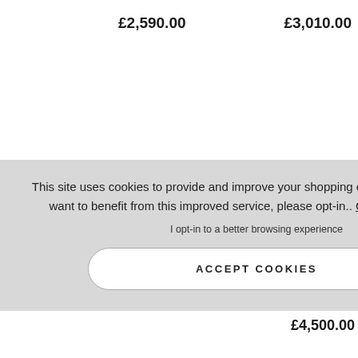£2,590.00
£3,010.00
NTBLANC
blanc Heritage
rie Dual Time 41mm
al Men's Watch
£4,500.00
This site uses cookies to provide and improve your shopping experience. If you want to benefit from this improved service, please opt-in.. Cookies Page.
I opt-in to a better browsing experience
ACCEPT COOKIES